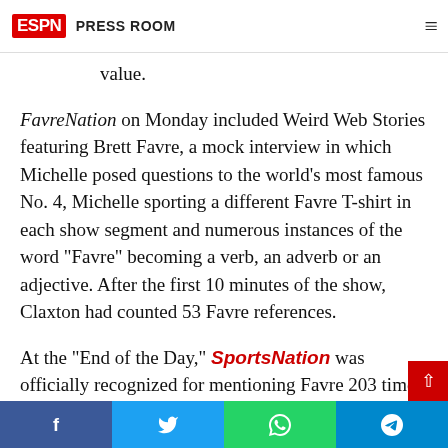ESPN Press Room
of a discussion but asserts in ambiguities which of a ... make statements of other fact or value.
FavreNation on Monday included Weird Web Stories featuring Brett Favre, a mock interview in which Michelle posed questions to the world’s most famous No. 4, Michelle sporting a different Favre T-shirt in each show segment and numerous instances of the word “Favre” becoming a verb, an adverb or an adjective. After the first 10 minutes of the show, Claxton had counted 53 Favre references.
At the “End of the Day,” SportsNation was officially recognized for mentioning Favre 203 times and is now the rightful owner of a Guinness World Record for...
Facebook Twitter WhatsApp Telegram